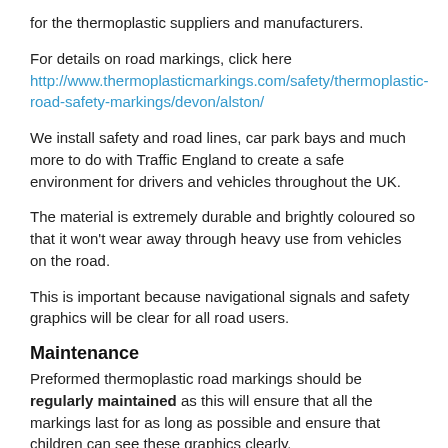for the thermoplastic suppliers and manufacturers.
For details on road markings, click here http://www.thermoplasticmarkings.com/safety/thermoplastic-road-safety-markings/devon/alston/
We install safety and road lines, car park bays and much more to do with Traffic England to create a safe environment for drivers and vehicles throughout the UK.
The material is extremely durable and brightly coloured so that it won't wear away through heavy use from vehicles on the road.
This is important because navigational signals and safety graphics will be clear for all road users.
Maintenance
Preformed thermoplastic road markings should be regularly maintained as this will ensure that all the markings last for as long as possible and ensure that children can see these graphics clearly.